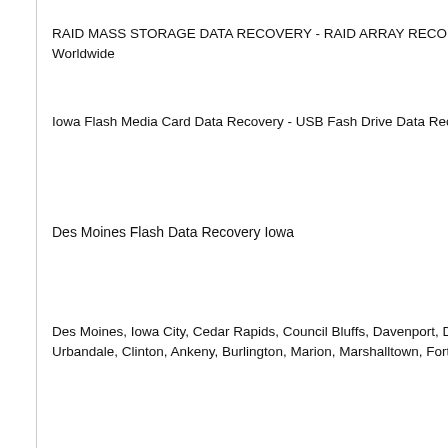RAID MASS STORAGE DATA RECOVERY - RAID ARRAY RECONSTRUCTION Worldwide
Iowa Flash Media Card Data Recovery - USB Fash Drive Data Recovery
Des Moines Flash Data Recovery Iowa
Des Moines, Iowa City, Cedar Rapids, Council Bluffs, Davenport, Dubuque, Urbandale, Clinton, Ankeny, Burlington, Marion, Marshalltown, Fort Dodge